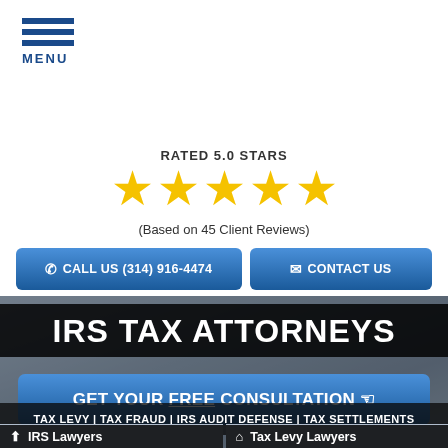MENU
RATED 5.0 STARS
[Figure (infographic): Five gold star rating icons]
(Based on 45 Client Reviews)
CALL US (314) 916-4474
CONTACT US
IRS TAX ATTORNEYS
GET YOUR FREE CONSULTATION
TAX LEVY | TAX FRAUD | IRS AUDIT DEFENSE | TAX SETTLEMENTS
IRS Lawyers
Tax Levy Lawyers